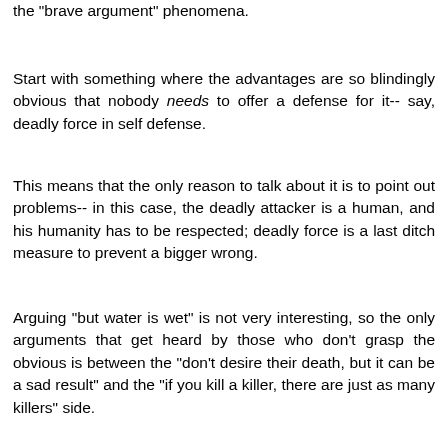the "brave argument" phenomena.
Start with something where the advantages are so blindingly obvious that nobody needs to offer a defense for it-- say, deadly force in self defense.
This means that the only reason to talk about it is to point out problems-- in this case, the deadly attacker is a human, and his humanity has to be respected; deadly force is a last ditch measure to prevent a bigger wrong.
Arguing "but water is wet" is not very interesting, so the only arguments that get heard by those who don't grasp the obvious is between the "don't desire their death, but it can be a sad result" and the "if you kill a killer, there are just as many killers" side.
This warps the conversation, so the "obvious" side is moved to where even I had an impulse to write some clap-trap about defending some other innocent, like self defense is somehow selfish and icky, or like some SOB who breaks